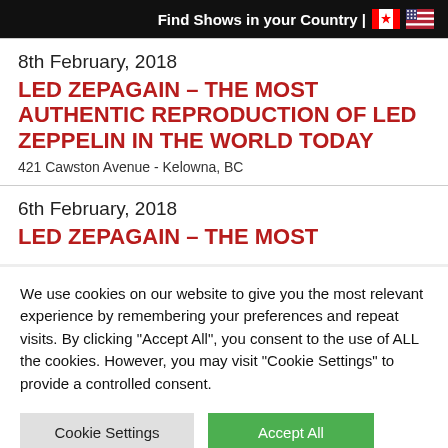Find Shows in your Country | 🇨🇦 🇺🇸
8th February, 2018
LED ZEPAGAIN – THE MOST AUTHENTIC REPRODUCTION OF LED ZEPPELIN IN THE WORLD TODAY
421 Cawston Avenue - Kelowna, BC
6th February, 2018
LED ZEPAGAIN – THE MOST
We use cookies on our website to give you the most relevant experience by remembering your preferences and repeat visits. By clicking "Accept All", you consent to the use of ALL the cookies. However, you may visit "Cookie Settings" to provide a controlled consent.